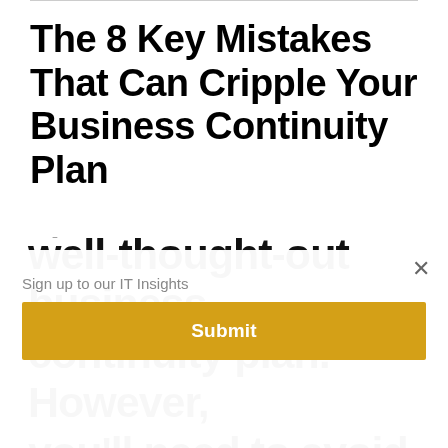The 8 Key Mistakes That Can Cripple Your Business Continuity Plan
Sign up to our IT Insights
Submit
well-thought-out business continuity plan. However, you'll need to avoid several mistakes when developing